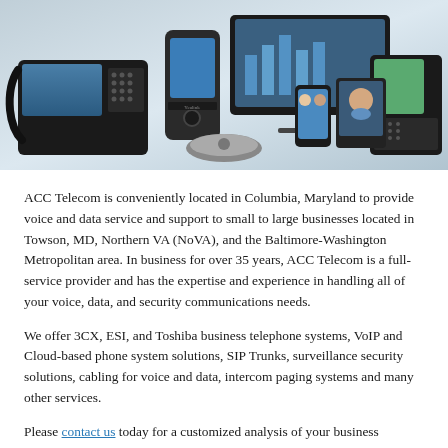[Figure (photo): Collage of business telephone and communication devices including desk phones, a conference speakerphone, smartphones, tablets, and video conferencing screens with people on call.]
ACC Telecom is conveniently located in Columbia, Maryland to provide voice and data service and support to small to large businesses located in Towson, MD, Northern VA (NoVA), and the Baltimore-Washington Metropolitan area. In business for over 35 years, ACC Telecom is a full-service provider and has the expertise and experience in handling all of your voice, data, and security communications needs.
We offer 3CX, ESI, and Toshiba business telephone systems, VoIP and Cloud-based phone system solutions, SIP Trunks, surveillance security solutions, cabling for voice and data, intercom paging systems and many other services.
Please contact us today for a customized analysis of your business